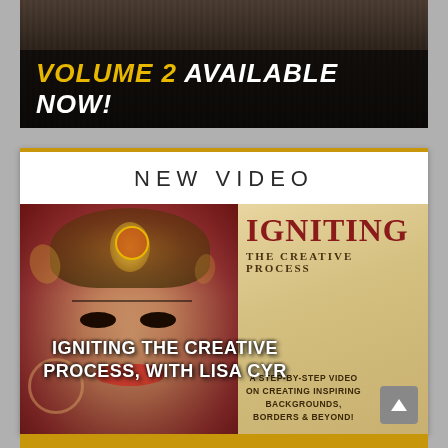[Figure (illustration): Dark background banner image with text overlay reading 'VOLUME 2 AVAILABLE NOW!' in bold italic yellow and white text on dark background with textured image behind.]
NEW VIDEO
[Figure (photo): Composite image: left half shows a stylized painted portrait of a woman with elaborate headdress and dark eyes; right half shows a vintage-style poster with text 'IGNITING THE CREATIVE PROCESS WITH LISA CYR'. Overlaid on the composite image is white bold text reading 'IGNITING THE CREATIVE PROCESS, WITH LISA CYR' and on the right poster section: 'A STEP-BY-STEP VIDEO ON CREATING INSPIRING BACKGROUNDS, BORDERS & BEYOND!']